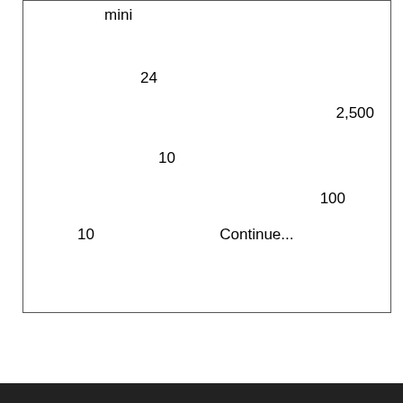| mini |  |  |
| 24 |  |  |
|  |  | 2,500 |
| 10 |  |  |
|  |  | 100 |
| 10 | Continue... |  |